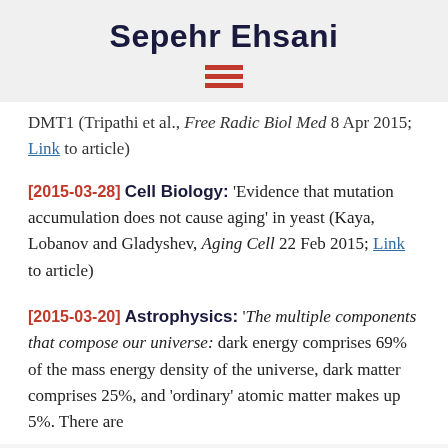Sepehr Ehsani
[Figure (other): Hamburger menu icon with three horizontal red bars]
DMT1 (Tripathi et al., Free Radic Biol Med 8 Apr 2015; Link to article)
[2015-03-28] Cell Biology: 'Evidence that mutation accumulation does not cause aging' in yeast (Kaya, Lobanov and Gladyshev, Aging Cell 22 Feb 2015; Link to article)
[2015-03-20] Astrophysics: 'The multiple components that compose our universe: dark energy comprises 69% of the mass energy density of the universe, dark matter comprises 25%, and 'ordinary' atomic matter makes up 5%. There are